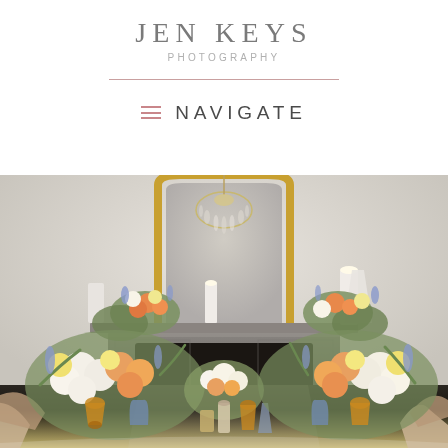[Figure (logo): Jen Keys Photography logo with name in large spaced gray letters, 'PHOTOGRAPHY' in small spaced caps below, and a thin rose-colored horizontal divider line beneath]
≡  NAVIGATE
[Figure (photo): Wedding/event styled photo showing a long dining table set with abundant floral arrangements of white, peach, and orange roses with blue accents in gold and blue vases, in front of a large gray marble fireplace mantel topped with candles and floral arrangements, a gold-framed arch mirror, and a chandelier reflected in the mirror. Wooden chairs visible in foreground.]